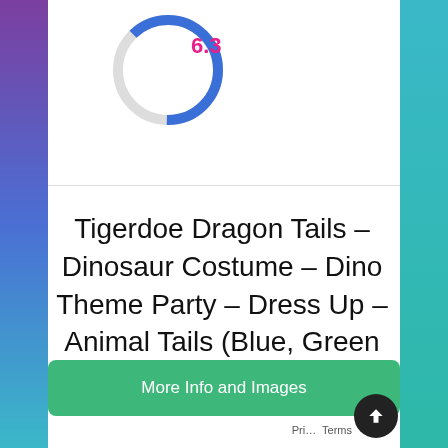[Figure (donut-chart): Partial donut chart showing score 6.3 in pink text, grey arc partially filled with blue]
Tigerdoe Dragon Tails – Dinosaur Costume – Dino Theme Party – Dress Up – Animal Tails (Blue, Green & Yellow Tail)
More Info and Images